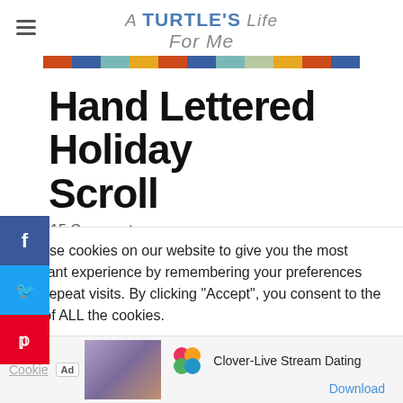A TURTLE'S Life For Me
[Figure (logo): A Turtle's Life For Me blog logo with colorful squares bar underneath]
Hand Lettered Holiday Scroll
15 Comments
We use cookies on our website to give you the most relevant experience by remembering your preferences and repeat visits. By clicking “Accept”, you consent to the use of ALL the cookies.
[Figure (screenshot): Ad bar with Cookie text, Ad badge, app image placeholder, Clover-Live Stream Dating app icon and name, Download button]